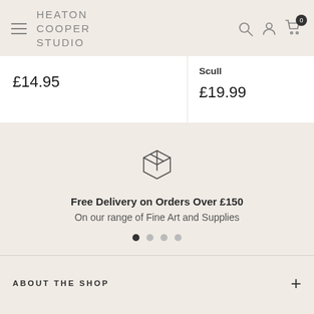HEATON COOPER STUDIO
£14.95
Scull
£19.99
[Figure (illustration): Box/package icon for free delivery promotion]
Free Delivery on Orders Over £150
On our range of Fine Art and Supplies
ABOUT THE SHOP